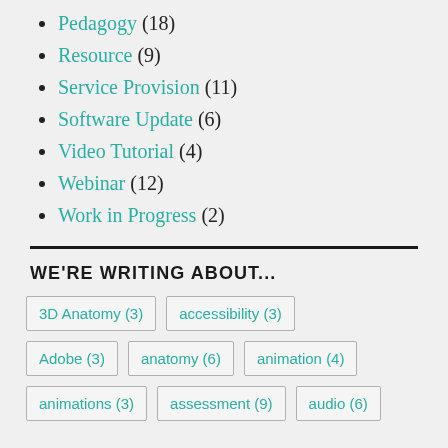Pedagogy (18)
Resource (9)
Service Provision (11)
Software Update (6)
Video Tutorial (4)
Webinar (12)
Work in Progress (2)
WE'RE WRITING ABOUT...
3D Anatomy (3)   accessibility (3)   Adobe (3)   anatomy (6)   animation (4)   animations (3)   assessment (9)   audio (6)